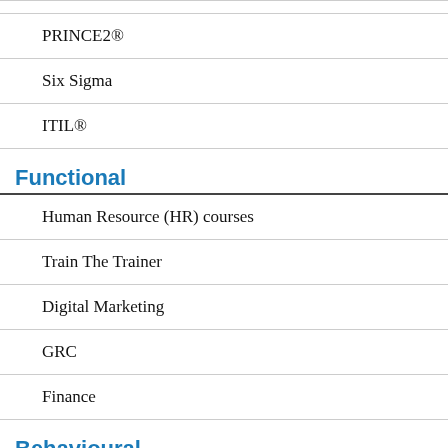PRINCE2®
Six Sigma
ITIL®
Functional
Human Resource (HR) courses
Train The Trainer
Digital Marketing
GRC
Finance
Behavioural